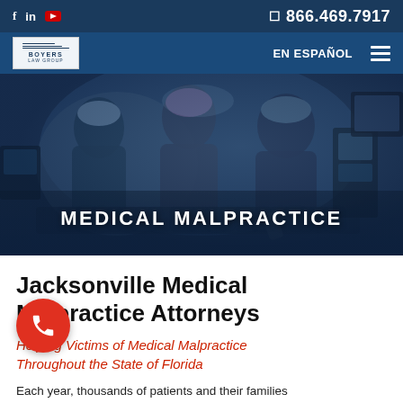f  in  ▶   866.469.7917
Boyers Law Group  EN ESPAÑOL  ☰
[Figure (photo): Surgeons performing an operation in an operating room, viewed from slightly above. Blue surgical gowns and caps visible. Medical equipment in background. Dark blue overlay tint.]
MEDICAL MALPRACTICE
Jacksonville Medical Malpractice Attorneys
Helping Victims of Medical Malpractice Throughout the State of Florida
Each year, thousands of patients and their families